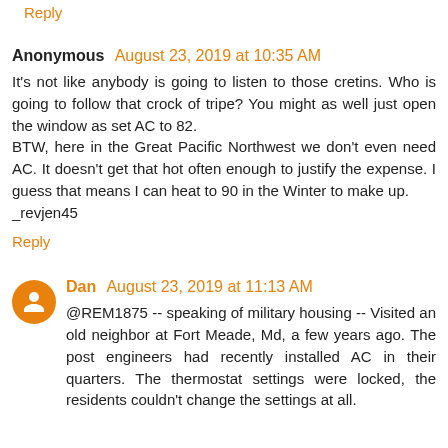Reply
Anonymous  August 23, 2019 at 10:35 AM
It's not like anybody is going to listen to those cretins. Who is going to follow that crock of tripe? You might as well just open the window as set AC to 82.
BTW, here in the Great Pacific Northwest we don't even need AC. It doesn't get that hot often enough to justify the expense. I guess that means I can heat to 90 in the Winter to make up.
_revjen45
Reply
Dan  August 23, 2019 at 11:13 AM
@REM1875 -- speaking of military housing -- Visited an old neighbor at Fort Meade, Md, a few years ago. The post engineers had recently installed AC in their quarters. The thermostat settings were locked, the residents couldn't change the settings at all.